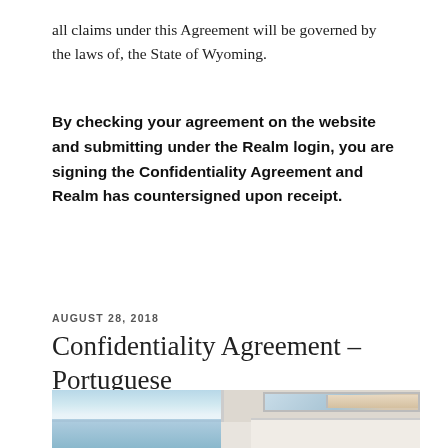all claims under this Agreement will be governed by the laws of, the State of Wyoming.
By checking your agreement on the website and submitting under the Realm login, you are signing the Confidentiality Agreement and Realm has countersigned upon receipt.
AUGUST 28, 2018
Confidentiality Agreement – Portuguese
[Figure (photo): Modern luxury white building with large glass windows overlooking the ocean, blue sky background]